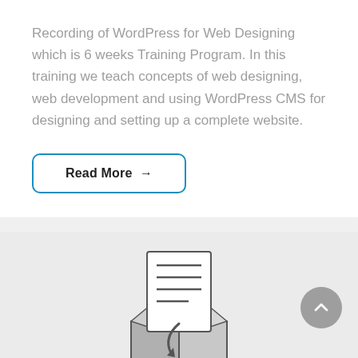Recording of WordPress for Web Designing which is 6 weeks Training Program. In this training we teach concepts of web designing, web development and using WordPress CMS for designing and setting up a complete website.
Read More →
[Figure (illustration): Icon of a document being placed into an open cardboard box, rendered in gray tones]